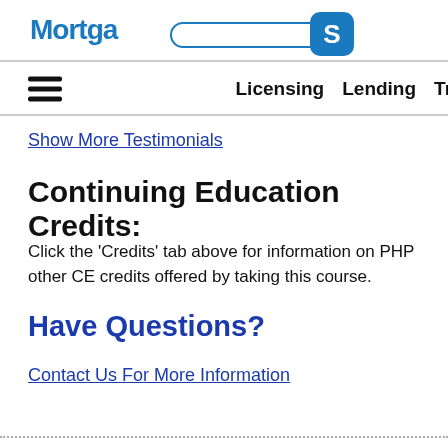MortgageEducates — Account — Licensing Lending Training
Show More Testimonials
Continuing Education Credits:
Click the 'Credits' tab above for information on PHP and other CE credits offered by taking this course.
Have Questions?
Contact Us For More Information